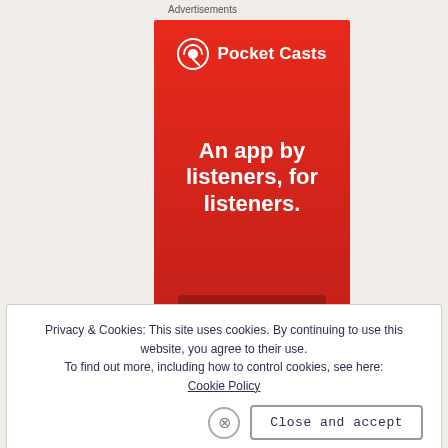Advertisements
[Figure (illustration): Pocket Casts advertisement banner with red background, white podcast icon and logo, tagline 'An app by listeners, for listeners.' and a 'Download now' button]
Privacy & Cookies: This site uses cookies. By continuing to use this website, you agree to their use.
To find out more, including how to control cookies, see here:
Cookie Policy
Close and accept